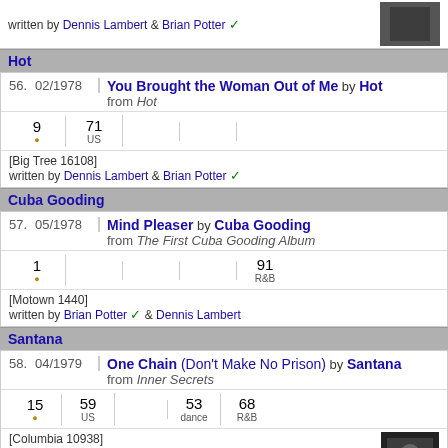written by Dennis Lambert & Brian Potter ✓
Hot
56. 02/1978 You Brought the Woman Out of Me by Hot from Hot
9 • | 71 US | | | | [Big Tree 16108] written by Dennis Lambert & Brian Potter ✓
Cuba Gooding
57. 05/1978 Mind Pleaser by Cuba Gooding from The First Cuba Gooding Album
1 • | | | | 91 R&B [Motown 1440] written by Brian Potter ✓ & Dennis Lambert
Santana
58. 04/1979 One Chain (Don't Make No Prison) by Santana from Inner Secrets
15 • | 59 US | | 53 dance | 68 R&B [Columbia 10938] written by Dennis Lambert & Brian Potter ✓